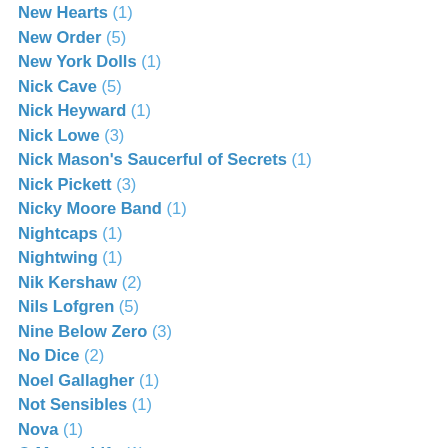New Hearts (1)
New Order (5)
New York Dolls (1)
Nick Cave (5)
Nick Heyward (1)
Nick Lowe (3)
Nick Mason's Saucerful of Secrets (1)
Nick Pickett (3)
Nicky Moore Band (1)
Nightcaps (1)
Nightwing (1)
Nik Kershaw (2)
Nils Lofgren (5)
Nine Below Zero (3)
No Dice (2)
Noel Gallagher (1)
Not Sensibles (1)
Nova (1)
O Messy Life (1)
Oasis (6)